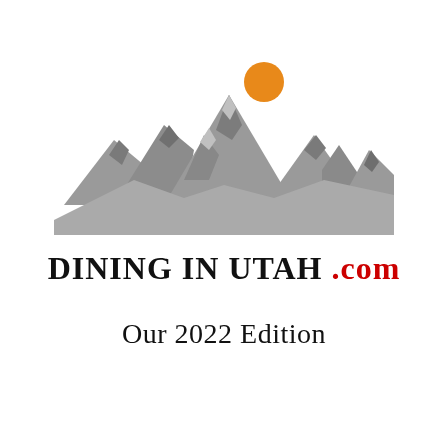[Figure (logo): Mountain range silhouette in gray with an orange sun/circle above the peaks, serving as the logo for Dining in Utah]
DINING IN UTAH .com
Our 2022 Edition